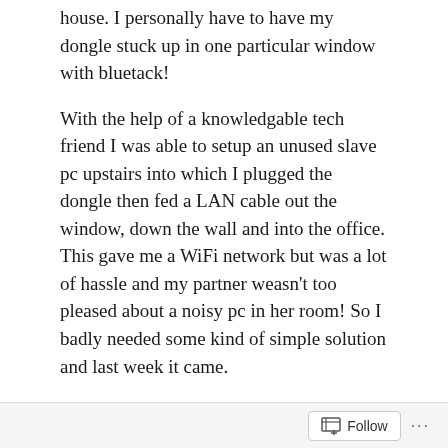house. I personally have to have my dongle stuck up in one particular window with bluetack!
With the help of a knowledgable tech friend I was able to setup an unused slave pc upstairs into which I plugged the dongle then fed a LAN cable out the window, down the wall and into the office. This gave me a WiFi network but was a lot of hassle and my partner weasn't too pleased about a noisy pc in her room! So I badly needed some kind of simple solution and last week it came.
I found out by chance (either through Twitter or Irish Press Releases, can't remember which!) that Commsoft, an irish company, were selling the first 3G usb broadband router that I'd ever heard of so I snapped it up off their site immediately! It came
Follow